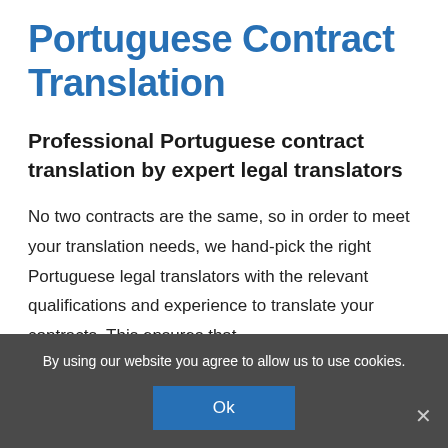Portuguese Contract Translation
Professional Portuguese contract translation by expert legal translators
No two contracts are the same, so in order to meet your translation needs, we hand-pick the right Portuguese legal translators with the relevant qualifications and experience to translate your contracts. This ensures that
By using our website you agree to allow us to use cookies.
Ok